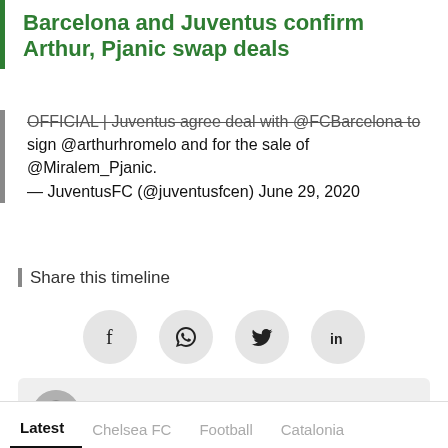Barcelona and Juventus confirm Arthur, Pjanic swap deals
OFFICIAL | Juventus agree deal with @FCBarcelona to sign @arthurhromelo and for the sale of @Miralem_Pjanic.
— JuventusFC (@juventusfcen) June 29, 2020
Share this timeline
[Figure (infographic): Social sharing icons: Facebook, WhatsApp, Twitter, LinkedIn in light grey circles]
[Figure (infographic): Author card with avatar photo of Rajdeep Saha, Twitter icon, and bio text: Rajdeep Saha is a sports journalist at NewsBytes. He has an experience of over 10 years covering sports across print,...]
Latest   Chelsea FC   Football   Catalonia